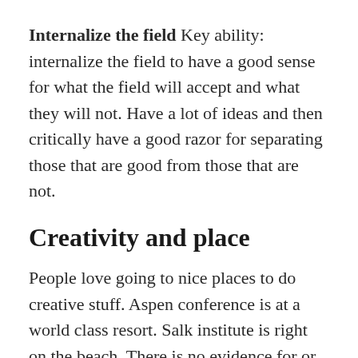Internalize the field Key ability: internalize the field to have a good sense for what the field will accept and what they will not. Have a lot of ideas and then critically have a good razor for separating those that are good from those that are not.
Creativity and place
People love going to nice places to do creative stuff. Aspen conference is at a world class resort. Salk institute is right on the beach. There is no evidence for or against physical beauty helping creativity, largely because